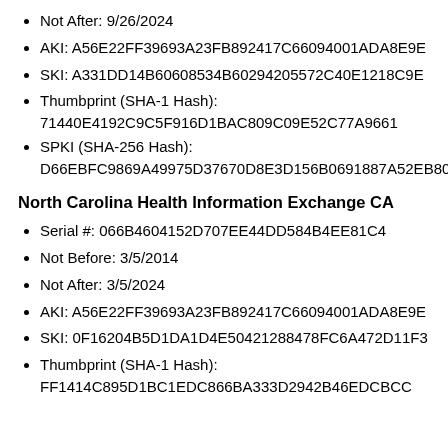Not After: 9/26/2024
AKI: A56E22FF39693A23FB892417C66094001ADA8E9E
SKI: A331DD14B60608534B60294205572C40E1218C9E
Thumbprint (SHA-1 Hash): 71440E4192C9C5F916D1BAC809C09E52C77A9661
SPKI (SHA-256 Hash): D66EBFC9869A49975D37670D8E3D156B0691887A52EB80F3
North Carolina Health Information Exchange CA
Serial #: 066B4604152D707EE44DD584B4EE81C4
Not Before: 3/5/2014
Not After: 3/5/2024
AKI: A56E22FF39693A23FB892417C66094001ADA8E9E
SKI: 0F16204B5D1DA1D4E50421288478FC6A472D11F3
Thumbprint (SHA-1 Hash): FF1414C895D1BC1EDC866BA333D2942B46EDCBCC